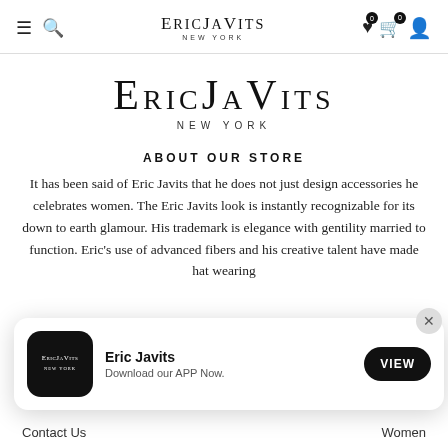Eric Javits New York — navigation bar with hamburger, search, logo, wishlist (0), cart (0), account icons
[Figure (logo): Eric Javits New York large logo centered on page]
ABOUT OUR STORE
It has been said of Eric Javits that he does not just design accessories he celebrates women. The Eric Javits look is instantly recognizable for its down to earth glamour. His trademark is elegance with gentility married to function. Eric's use of advanced fibers and his creative talent have made hat wearing
[Figure (screenshot): App download popup: Eric Javits app icon, title 'Eric Javits', subtitle 'Download our APP Now.', VIEW button, close X button]
Contact Us    Women